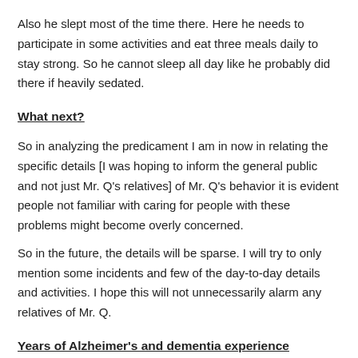Also he slept most of the time there. Here he needs to participate in some activities and eat three meals daily to stay strong. So he cannot sleep all day like he probably did there if heavily sedated.
What next?
So in analyzing the predicament I am in now in relating the specific details [I was hoping to inform the general public and not just Mr. Q's relatives] of Mr. Q's behavior it is evident people not familiar with caring for people with these problems might become overly concerned.
So in the future, the details will be sparse. I will try to only mention some incidents and few of the day-to-day details and activities. I hope this will not unnecessarily alarm any relatives of Mr. Q.
Years of Alzheimer's and dementia experience
For the record Mr. Q is not the only one we are caring for. Presently and in the past we have cared for people with these two problems, we, meaning the owner/caretaker. She has over twenty years dealing with